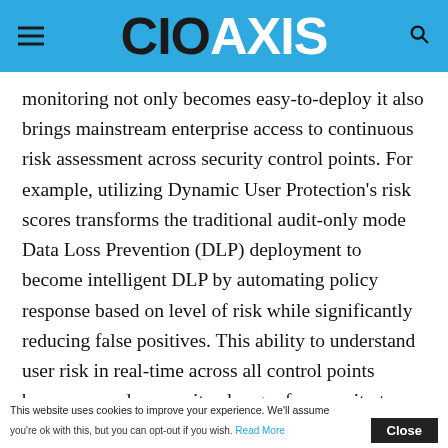CIO AXIS
monitoring not only becomes easy-to-deploy it also brings mainstream enterprise access to continuous risk assessment across security control points. For example, utilizing Dynamic User Protection’s risk scores transforms the traditional audit-only mode Data Loss Prevention (DLP) deployment to become intelligent DLP by automating policy response based on level of risk while significantly reducing false positives. This ability to understand user risk in real-time across all control points becomes a cybersecurity changer for security teams allowing global
This website uses cookies to improve your experience. We’ll assume you’re ok with this, but you can opt-out if you wish. Read More Close